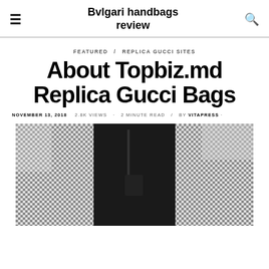Bvlgari handbags review
FEATURED / REPLICA GUCCI SITES
About Topbiz.md Replica Gucci Bags
NOVEMBER 13, 2018 · 2.8K VIEWS · 2 MINUTE READ · BY VITAPRESS ·
[Figure (photo): Fashion photo of a person wearing a houndstooth/checked coat with a dark top and black bag visible, photographed outdoors near a balustrade.]